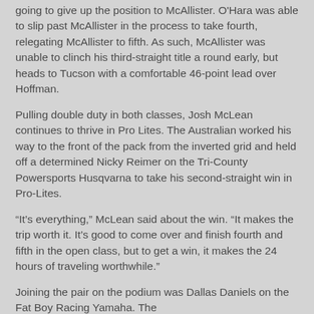going to give up the position to McAllister. O'Hara was able to slip past McAllister in the process to take fourth, relegating McAllister to fifth. As such, McAllister was unable to clinch his third-straight title a round early, but heads to Tucson with a comfortable 46-point lead over Hoffman.
Pulling double duty in both classes, Josh McLean continues to thrive in Pro Lites. The Australian worked his way to the front of the pack from the inverted grid and held off a determined Nicky Reimer on the Tri-County Powersports Husqvarna to take his second-straight win in Pro-Lites.
“It’s everything,” McLean said about the win. “It makes the trip worth it. It’s good to come over and finish fourth and fifth in the open class, but to get a win, it makes the 24 hours of traveling worthwhile.”
Joining the pair on the podium was Dallas Daniels on the Fat Boy Racing Yamaha. The